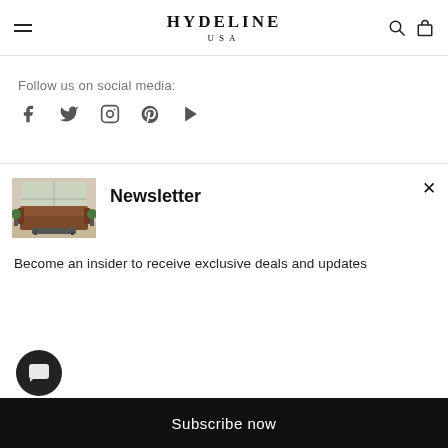HYDELINE USA
Follow us on social media:
[Figure (illustration): Social media icons: Facebook, Twitter, Instagram, Pinterest, YouTube]
[Figure (photo): Furniture showroom with brown leather sofa]
Newsletter
Become an insider to receive exclusive deals and updates
Subscribe now